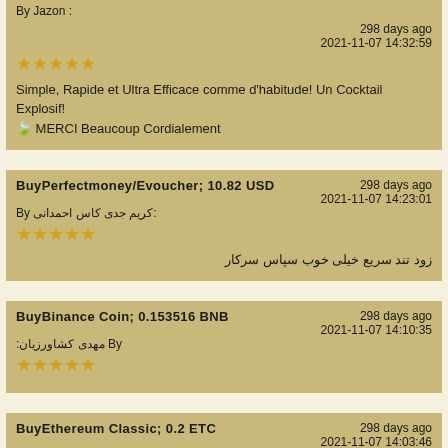By Jazon :
298 days ago
2021-11-07 14:32:59
★★★★★
Simple, Rapide et Ultra Efficace comme d'habitude! Un Cocktail Explosif! 🍹 MERCI Beaucoup Cordialement
BuyPerfectmoney/Evoucher; 10.82 USD
298 days ago
2021-11-07 14:23:01
By كريم جدى كاس احمدانى:
★★★★★
زود تند سریع خیلی خوب سپاس سرکار
BuyBinance Coin; 0.153516 BNB
298 days ago
2021-11-07 14:10:35
By مهدى کشاورزیان:
★★★★★
BuyEthereum Classic; 0.2 ETC
298 days ago
2021-11-07 14:03:46
By على احمدوند: